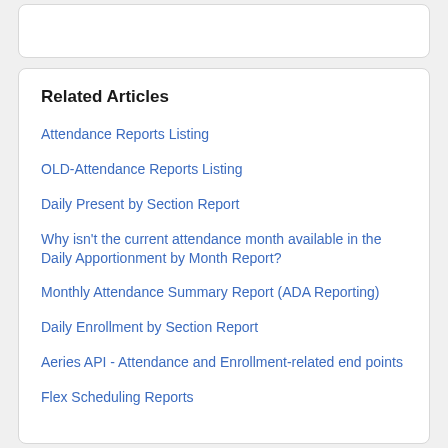Related Articles
Attendance Reports Listing
OLD-Attendance Reports Listing
Daily Present by Section Report
Why isn't the current attendance month available in the Daily Apportionment by Month Report?
Monthly Attendance Summary Report (ADA Reporting)
Daily Enrollment by Section Report
Aeries API - Attendance and Enrollment-related end points
Flex Scheduling Reports